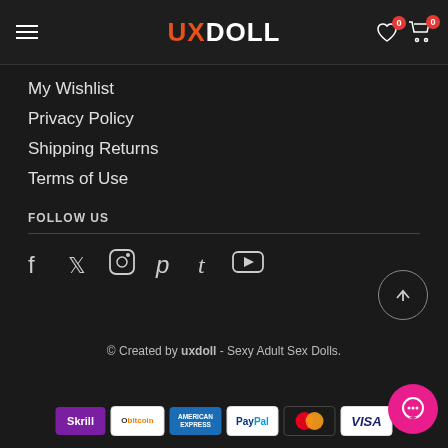UXDOLL — navigation header with hamburger menu, logo, wishlist (0) and cart (0)
My Wishlist
Privacy Policy
Shipping Returns
Terms of Use
FOLLOW US
[Figure (illustration): Social media icons: Facebook, Twitter, Instagram, Pinterest, Tumblr, YouTube]
© Created by uxdoll - Sexy Adult Sex Dolls.
[Figure (illustration): Payment method logos: Skrill, Obitcoin, American Express, PayPal, Mastercard, Visa]